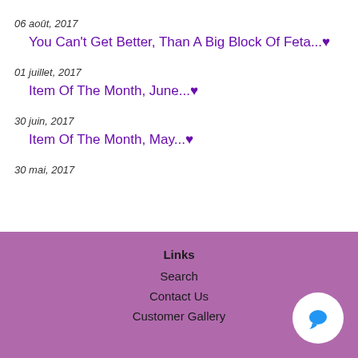06 août, 2017
You Can't Get Better, Than A Big Block Of Feta...♥
01 juillet, 2017
Item Of The Month, June...♥
30 juin, 2017
Item Of The Month, May...♥
30 mai, 2017
Links
Search
Contact Us